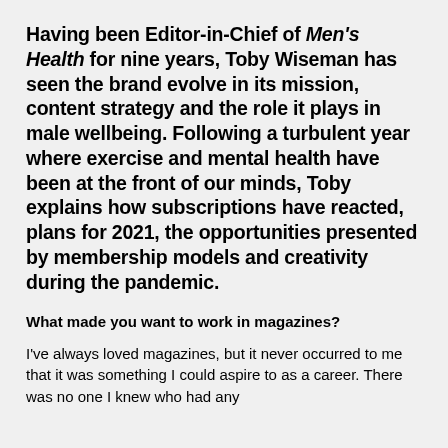Having been Editor-in-Chief of Men's Health for nine years, Toby Wiseman has seen the brand evolve in its mission, content strategy and the role it plays in male wellbeing. Following a turbulent year where exercise and mental health have been at the front of our minds, Toby explains how subscriptions have reacted, plans for 2021, the opportunities presented by membership models and creativity during the pandemic.
What made you want to work in magazines?
I've always loved magazines, but it never occurred to me that it was something I could aspire to as a career. There was no one I knew who had any